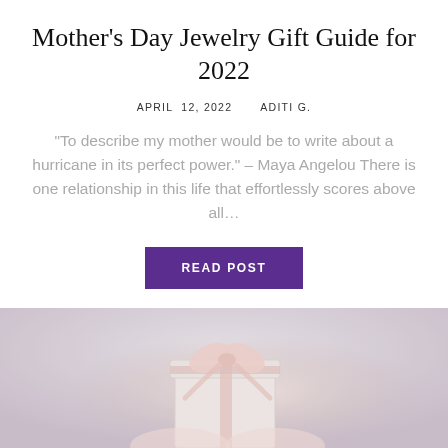Mother's Day Jewelry Gift Guide for 2022
APRIL 12, 2022   ADITI G.
“To describe my mother would be to write about a hurricane in its perfect power.” – Maya Angelou There is one relationship in this life that effortlessly scores above all…
READ POST
SHARE →
[Figure (photo): A white gift box with a pink satin ribbon bow held by hands, soft blurred background]